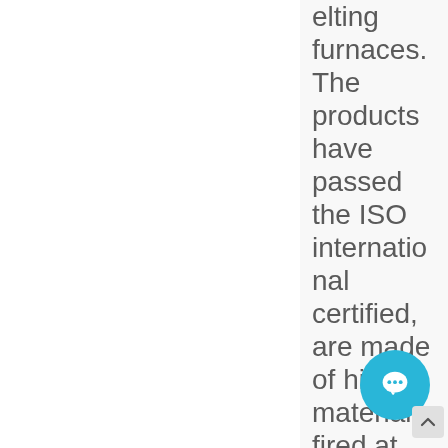elting furnaces.The products have passed the ISO international certified, are made of high material fired at